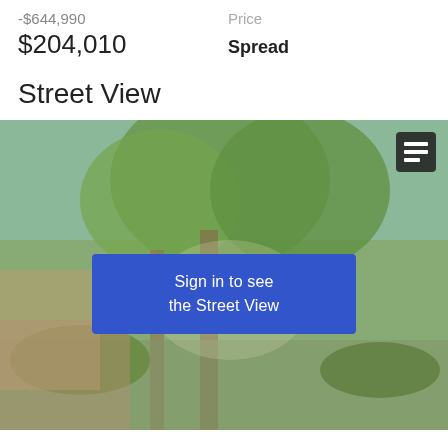-$644,990
Price
$204,010
Spread
Street View
[Figure (photo): Blurred street view photo of a residential property with trees and landscaping. A blue sign-in overlay button reads 'Sign in to see the Street View'. A small dark icon box is visible in the upper right corner of the photo.]